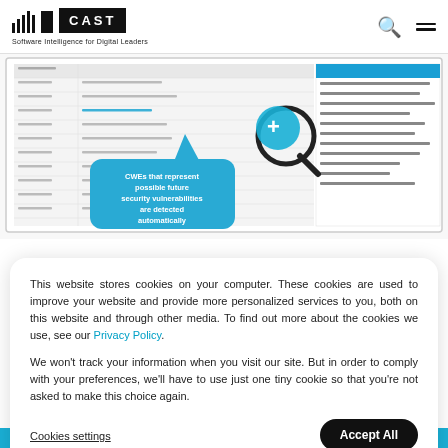CAST Software Intelligence for Digital Leaders
[Figure (screenshot): Screenshot of a software security analysis tool showing a table of CWEs (Common Weakness Enumerations) with a callout bubble reading 'CWEs that represent possible future security vulnerabilities are detected automatically' and a magnifying glass icon highlighting a row.]
This website stores cookies on your computer. These cookies are used to improve your website and provide more personalized services to you, both on this website and through other media. To find out more about the cookies we use, see our Privacy Policy.
We won't track your information when you visit our site. But in order to comply with your preferences, we'll have to use just one tiny cookie so that you're not asked to make this choice again.
Cookies settings   Accept All